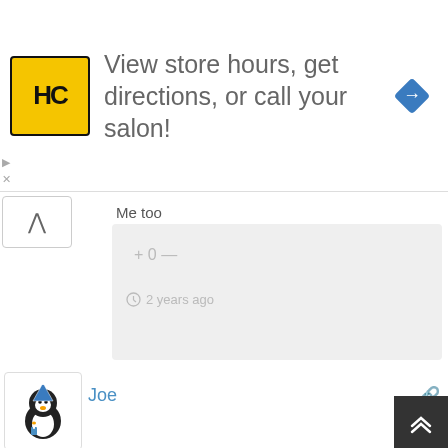[Figure (screenshot): Advertisement banner: HC logo in yellow square, text 'View store hours, get directions, or call your salon!', blue navigation diamond icon on right]
Me too
+ 0 —
2 years ago
[Figure (illustration): Penguin avatar wearing a party hat, holding a candle]
Joe
I've gotta admit I tried to be clever with today's question, Let's see what happens.
+ 0 —
2 years ago